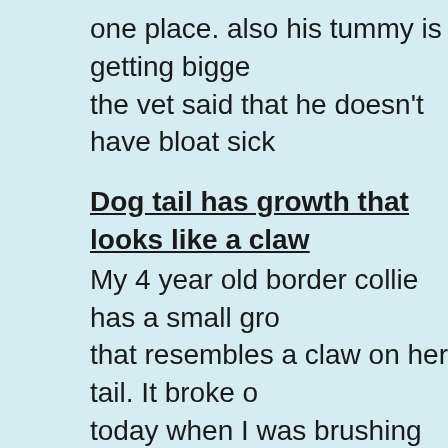one place. also his tummy is getting bigge... the vet said that he doesn't have bloat sick...
Dog tail has growth that looks like a claw
My 4 year old border collie has a small gro... that resembles a claw on her tail. It broke o... today when I was brushing her - first time I... noticed it and I thought it was a sticker she... picked up somewhere. Any idea what it is?... stopped bleeding when I applied pressure... left a tiny spot. Thank you.
Dog with appetite steadily losing weight
I am concerned because she is steadily lo... weight. What confuses me is she has a ve... good appetite, which may be the good sign... here. We have been having a lot of hot we...